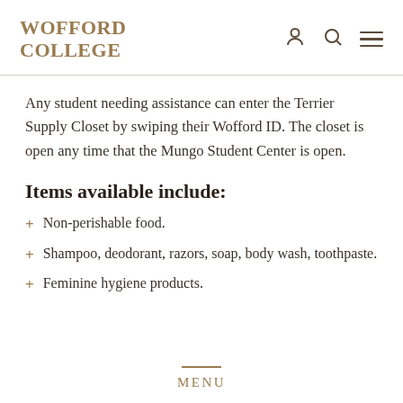WOFFORD COLLEGE
Any student needing assistance can enter the Terrier Supply Closet by swiping their Wofford ID. The closet is open any time that the Mungo Student Center is open.
Items available include:
Non-perishable food.
Shampoo, deodorant, razors, soap, body wash, toothpaste.
Feminine hygiene products.
MENU